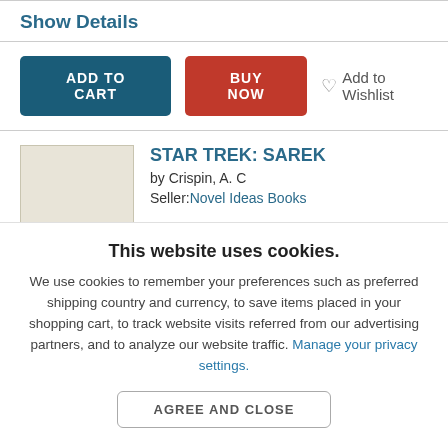Show Details
ADD TO CART | BUY NOW | Add to Wishlist
[Figure (other): Book cover thumbnail placeholder (beige/cream rectangle)]
STAR TREK: SAREK
by Crispin, A. C
Seller: Novel Ideas Books
This website uses cookies.
We use cookies to remember your preferences such as preferred shipping country and currency, to save items placed in your shopping cart, to track website visits referred from our advertising partners, and to analyze our website traffic. Manage your privacy settings.
AGREE AND CLOSE